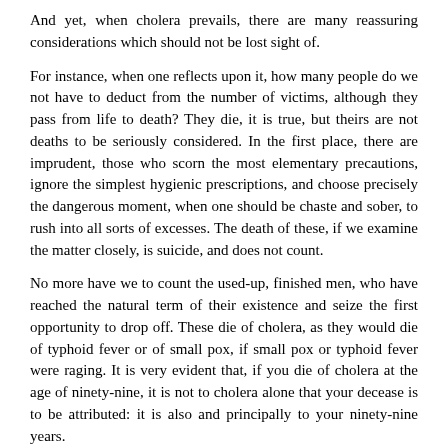And yet, when cholera prevails, there are many reassuring considerations which should not be lost sight of.
For instance, when one reflects upon it, how many people do we not have to deduct from the number of victims, although they pass from life to death? They die, it is true, but theirs are not deaths to be seriously considered. In the first place, there are imprudent, those who scorn the most elementary precautions, ignore the simplest hygienic prescriptions, and choose precisely the dangerous moment, when one should be chaste and sober, to rush into all sorts of excesses. The death of these, if we examine the matter closely, is suicide, and does not count.
No more have we to count the used-up, finished men, who have reached the natural term of their existence and seize the first opportunity to drop off. These die of cholera, as they would die of typhoid fever or of small pox, if small pox or typhoid fever were raging. It is very evident that, if you die of cholera at the age of ninety-nine, it is not to cholera alone that your decease is to be attributed: it is also and principally to your ninety-nine years.
Finally, there are those who are supposed to have died of cholera who may have succumbed to very different causes. Not to irritate the learned doctors, we will suppose that their number is small; but certainly there are some who are certainly it to be invisible from it to